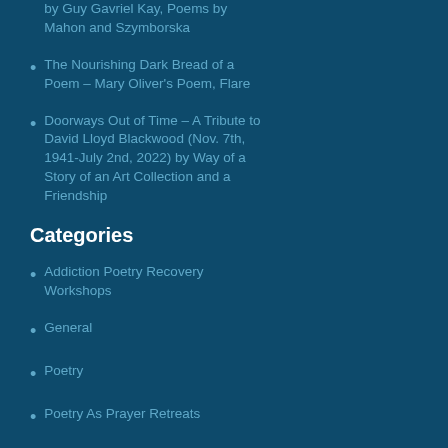by Guy Gavriel Kay, Poems by Mahon and Szymborska
The Nourishing Dark Bread of a Poem – Mary Oliver's Poem, Flare
Doorways Out of Time – A Tribute to David Lloyd Blackwood (Nov. 7th, 1941-July 2nd, 2022) by Way of a Story of an Art Collection and a Friendship
Categories
Addiction Poetry Recovery Workshops
General
Poetry
Poetry As Prayer Retreats
Poetry Writing Retreats and Workshops